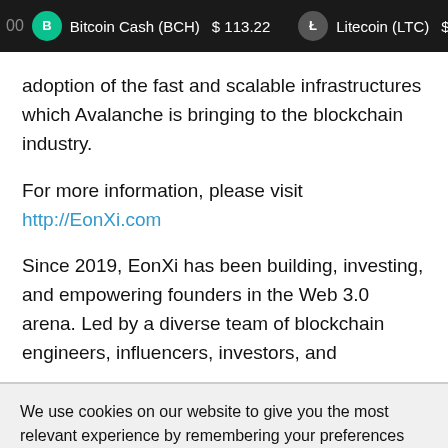00  Bitcoin Cash (BCH)  $ 113.22    Litecoin (LTC)  $ 53.
adoption of the fast and scalable infrastructures which Avalanche is bringing to the blockchain industry.
For more information, please visit http://EonXi.com
Since 2019, EonXi has been building, investing, and empowering founders in the Web 3.0 arena. Led by a diverse team of blockchain engineers, influencers, investors, and
We use cookies on our website to give you the most relevant experience by remembering your preferences and repeat visits. By clicking “Accept”, you consent to the use of ALL the cookies.
Do not sell my personal information.
Cookie settings   ACCEPT